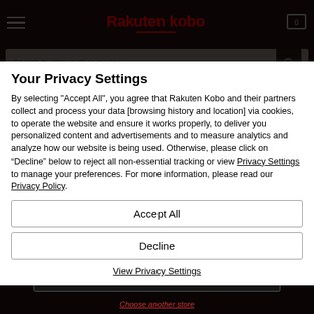[Figure (screenshot): Rakuten Kobo website header with hamburger menu, logo, and cart icon on dark background]
Your Privacy Settings
By selecting "Accept All", you agree that Rakuten Kobo and their partners collect and process your data [browsing history and location] via cookies, to operate the website and ensure it works properly, to deliver you personalized content and advertisements and to measure analytics and analyze how our website is being used. Otherwise, please click on “Decline” below to reject all non-essential tracking or view Privacy Settings to manage your preferences. For more information, please read our Privacy Policy.
Accept All
Decline
View Privacy Settings